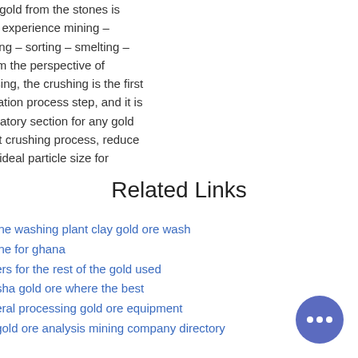n of gold from the stones is
le to experience mining –
rinding – sorting – smelting –
, from the perspective of
sessing, the crushing is the first
eficiation process step, and it is
eparatory section for any gold
olant crushing process, reduce
e to ideal particle size for
Related Links
y mine washing plant clay gold ore wash
achine for ghana
ushers for the rest of the gold used
angsha gold ore where the best
mineral processing gold ore equipment
ina gold ore analysis mining company directory
rope
ving a rock gold ore machine cost malaysia
gola crushers ore 1234 for sale
ne gold ore summary